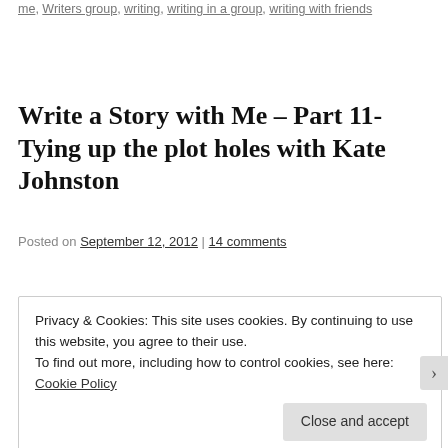me, Writers group, writing, writing in a group, writing with friends
Write a Story with Me – Part 11- Tying up the plot holes with Kate Johnston
Posted on September 12, 2012 | 14 comments
[Figure (illustration): Decorative graphic with colorful stylized text reading 'Write a Story with Me!' in blue with red outline on white background]
Privacy & Cookies: This site uses cookies. By continuing to use this website, you agree to their use.
To find out more, including how to control cookies, see here: Cookie Policy
Close and accept